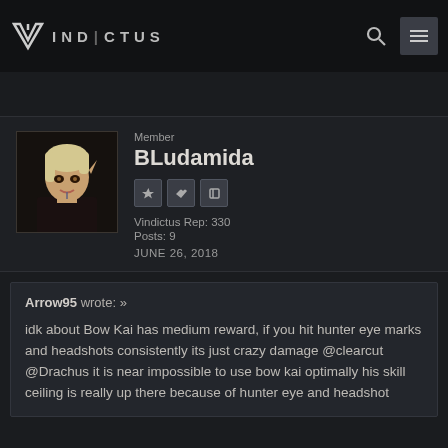VINDICTUS
[Figure (screenshot): User avatar of BLudamida — illustrated elf character with blonde hair]
Member
BLudamida
Vindictus Rep: 330
Posts: 9
JUNE 26, 2018
Arrow95 wrote: »

idk about Bow Kai has medium reward, if you hit hunter eye marks and headshots consistently its just crazy damage @clearcut
@Drachus it is near impossible to use bow kai optimally his skill ceiling is really up there because of hunter eye and headshot